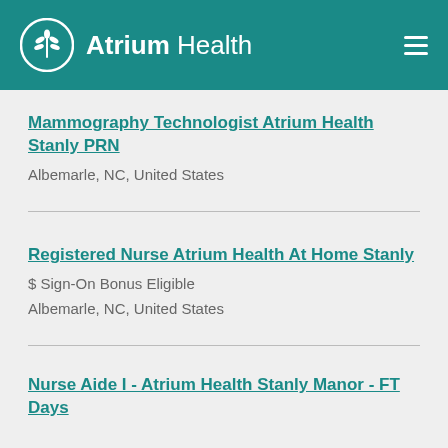Atrium Health
Mammography Technologist Atrium Health Stanly PRN
Albemarle, NC, United States
Registered Nurse Atrium Health At Home Stanly
$ Sign-On Bonus Eligible
Albemarle, NC, United States
Nurse Aide I - Atrium Health Stanly Manor - FT Days